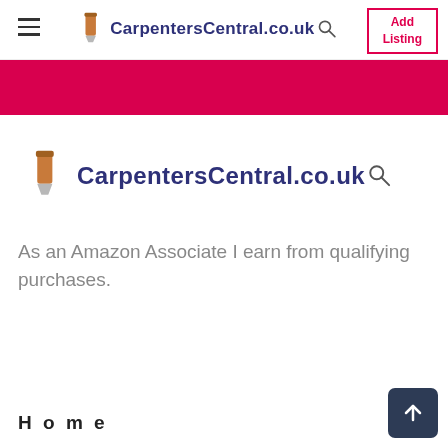CarpentersCentral.co.uk — Add Listing
[Figure (screenshot): Pink banner/hero section below navigation bar]
[Figure (logo): CarpentersCentral.co.uk logo with chisel icon and magnifying glass]
As an Amazon Associate I earn from qualifying purchases.
Home